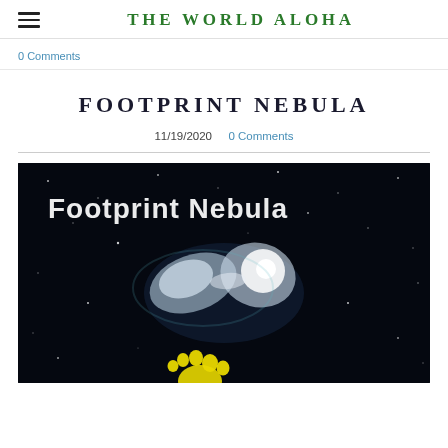THE WORLD ALOHA
0 Comments
FOOTPRINT NEBULA
11/19/2020   0 Comments
[Figure (photo): Image of the Footprint Nebula — a dark space background with stars, a bright white nebula shape, and a yellow footprint graphic with text 'Footprint Nebula' in white at the top.]